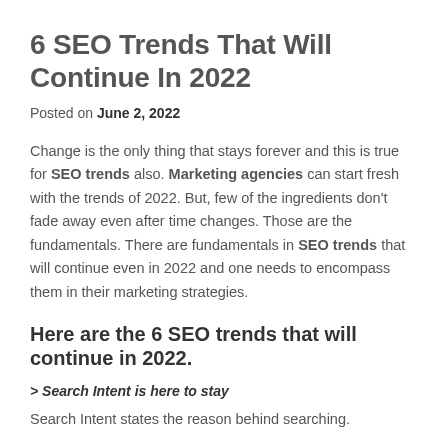6 SEO Trends That Will Continue In 2022
Posted on June 2, 2022
Change is the only thing that stays forever and this is true for SEO trends also. Marketing agencies can start fresh with the trends of 2022. But, few of the ingredients don’t fade away even after time changes. Those are the fundamentals. There are fundamentals in SEO trends that will continue even in 2022 and one needs to encompass them in their marketing strategies.
Here are the 6 SEO trends that will continue in 2022.
> Search Intent is here to stay
Search Intent states the reason behind searching.